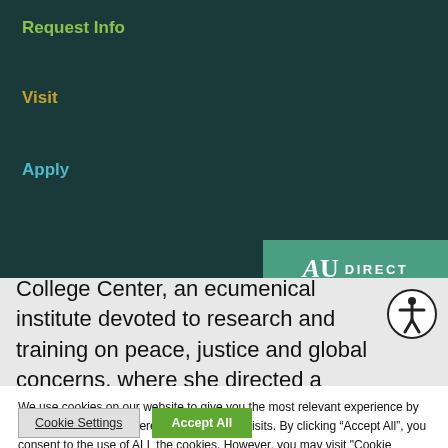Request Info
Visit
Apply
[Figure (logo): AU DIRECT badge in teal with stylized AU logo]
College Center, an ecumenical institute devoted to research and training on peace, justice and global concerns, where she directed a teaching training (K-16) program on international and multicultural classrooms
We use cookies on our website to give you the most relevant experience by remembering your preferences and repeat visits. By clicking “Accept All”, you consent to the use of ALL the cookies. However, you may visit "Cookie Settings" to provide a controlled consent.
Cookie Settings
Accept All